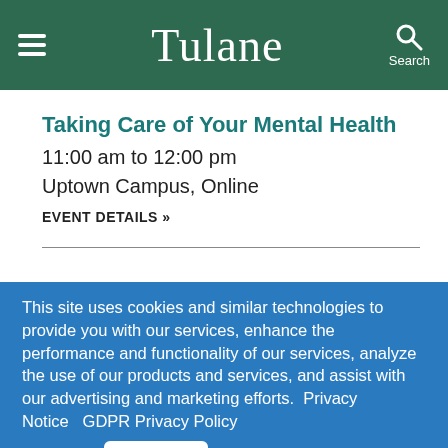Tulane
Taking Care of Your Mental Health
11:00 am to 12:00 pm
Uptown Campus, Online
EVENT DETAILS »
This site uses cookies and similar technologies to provide you with our services, enhance the performance and functionality of our services, analyze the use of our products and services, and assist with our advertising and marketing efforts. Privacy Notice  GDPR Privacy Policy
ACCEPT  Decline